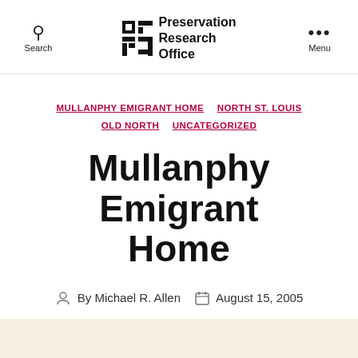Search | Preservation Research Office | Menu
MULLANPHY EMIGRANT HOME  NORTH ST. LOUIS  OLD NORTH  UNCATEGORIZED
Mullanphy Emigrant Home
By Michael R. Allen  August 15, 2005
by Michael R. Allen